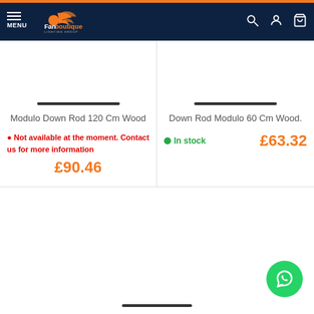[Figure (screenshot): Fan Boutique e-commerce website navigation bar with logo, menu icon, search, account and cart icons on dark navy background]
Modulo Down Rod 120 Cm Wood
Not available at the moment. Contact us for more information
£90.46
Down Rod Modulo 60 Cm Wood.
In stock
£63.32